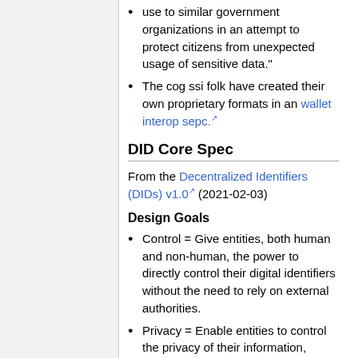use to similar government organizations in an attempt to protect citizens from unexpected usage of sensitive data."
The cog ssi folk have created their own proprietary formats in an wallet interop sepc.
DID Core Spec
From the Decentralized Identifiers (DIDs) v1.0 (2021-02-03)
Design Goals
Control = Give entities, both human and non-human, the power to directly control their digital identifiers without the need to rely on external authorities.
Privacy = Enable entities to control the privacy of their information,